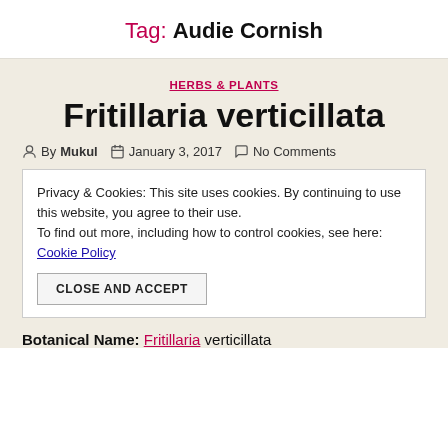Tag: Audie Cornish
HERBS & PLANTS
Fritillaria verticillata
By Mukul   January 3, 2017   No Comments
Privacy & Cookies: This site uses cookies. By continuing to use this website, you agree to their use. To find out more, including how to control cookies, see here: Cookie Policy
CLOSE AND ACCEPT
Botanical Name: Fritillaria verticillata